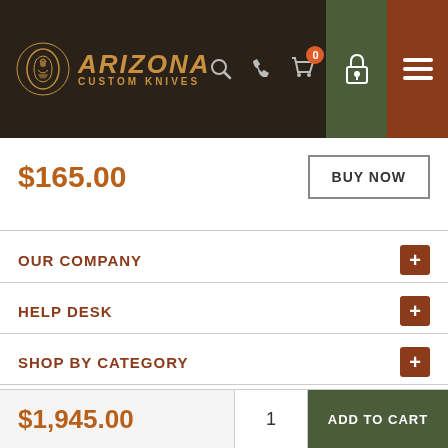[Figure (logo): Arizona Custom Knives logo with snake emblem on dark brown header background]
$165.00
BUY NOW
OUR COMPANY
HELP DESK
SHOP BY CATEGORY
CONNECT WITH US
$1,945.00
1
ADD TO CART